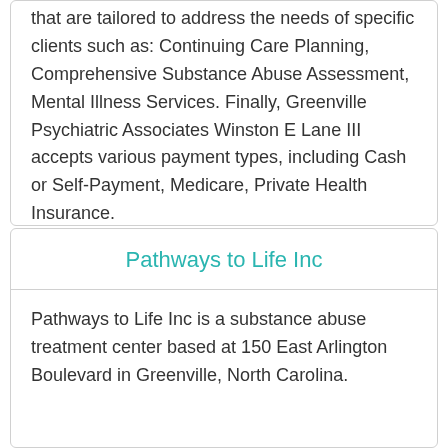Lane III also offers a number of programs that are tailored to address the needs of specific clients such as: Continuing Care Planning, Comprehensive Substance Abuse Assessment, Mental Illness Services. Finally, Greenville Psychiatric Associates Winston E Lane III accepts various payment types, including Cash or Self-Payment, Medicare, Private Health Insurance.
Pathways to Life Inc
Pathways to Life Inc is a substance abuse treatment center based at 150 East Arlington Boulevard in Greenville, North Carolina.